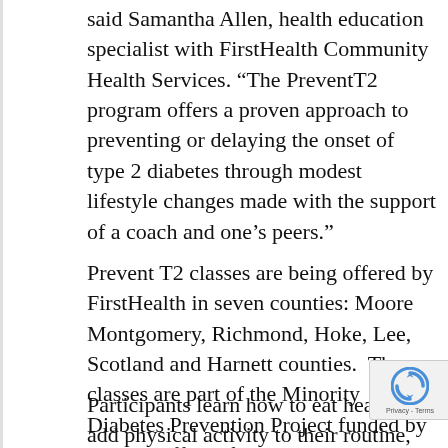said Samantha Allen, health education specialist with FirstHealth Community Health Services. “The PreventT2 program offers a proven approach to preventing or delaying the onset of type 2 diabetes through modest lifestyle changes made with the support of a coach and one’s peers.”
Prevent T2 classes are being offered by FirstHealth in seven counties: Moore Montgomery, Richmond, Hoke, Lee, Scotland and Harnett counties.  The classes are part of the Minority Diabetes Prevention Project funded by the NC Office of Minority Health and Health Disparities.
Participants learn how to eat healthy, add physical activity to their routine, manage stre… stay motivated and solve problems that can g…
[Figure (logo): reCAPTCHA badge with Privacy - Terms text]